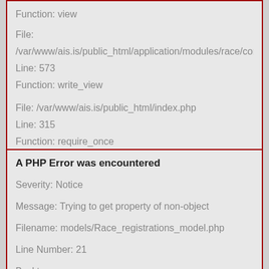Function: view
File: /var/www/ais.is/public_html/application/modules/race/con
Line: 573
Function: write_view
File: /var/www/ais.is/public_html/index.php
Line: 315
Function: require_once
A PHP Error was encountered
Severity: Notice
Message: Trying to get property of non-object
Filename: models/Race_registrations_model.php
Line Number: 21
Backtrace:
File: